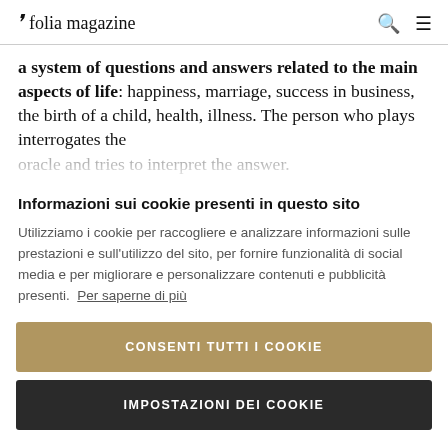folia magazine
a system of questions and answers related to the main aspects of life: happiness, marriage, success in business, the birth of a child, health, illness. The person who plays interrogates the
Informazioni sui cookie presenti in questo sito
Utilizziamo i cookie per raccogliere e analizzare informazioni sulle prestazioni e sull'utilizzo del sito, per fornire funzionalità di social media e per migliorare e personalizzare contenuti e pubblicità presenti. Per saperne di più
CONSENTI TUTTI I COOKIE
IMPOSTAZIONI DEI COOKIE